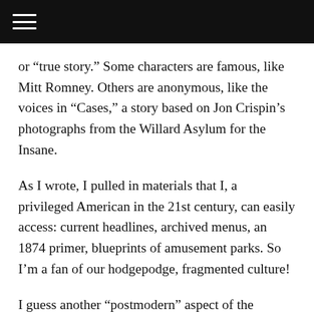≡
or “true story.” Some characters are famous, like Mitt Romney. Others are anonymous, like the voices in “Cases,” a story based on Jon Crispin’s photographs from the Willard Asylum for the Insane.
As I wrote, I pulled in materials that I, a privileged American in the 21st century, can easily access: current headlines, archived menus, an 1874 primer, blueprints of amusement parks. So I’m a fan of our hodgepodge, fragmented culture!
I guess another “postmodern” aspect of the collection is its interplay between private loss and public spectacle. In some cases, the spectator is a collective voice, like the tourists in “Beached,” who watch a seal